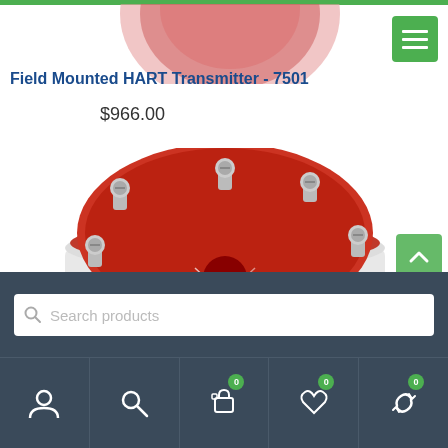Field Mounted HART Transmitter - 7501
$966.00
[Figure (photo): Red cylindrical HART transmitter head with multiple spring-loaded terminal screws on top, branded 'PR', viewed from above at an angle.]
Search products